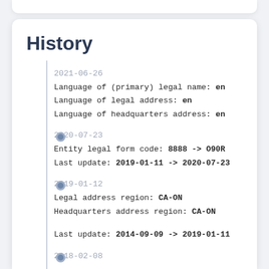History
2021-06-26
Language of (primary) legal name: en
Language of legal address: en
Language of headquarters address: en
2020-07-23
Entity legal form code: 8888 -> O90R
Last update: 2019-01-11 -> 2020-07-23
2019-01-12
Legal address region: CA-ON
Headquarters address region: CA-ON
Last update: 2014-09-09 -> 2019-01-11
2018-02-08